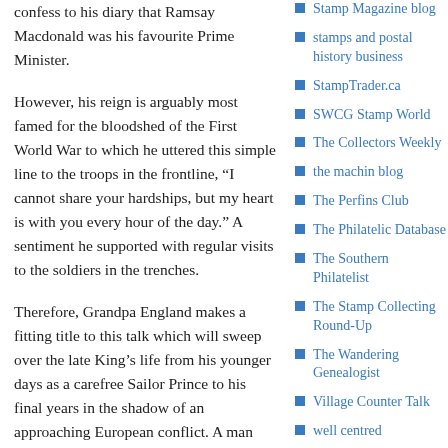confess to his diary that Ramsay Macdonald was his favourite Prime Minister.
However, his reign is arguably most famed for the bloodshed of the First World War to which he uttered this simple line to the troops in the frontline, “I cannot share your hardships, but my heart is with you every hour of the day.” A sentiment he supported with regular visits to the soldiers in the trenches.
Therefore, Grandpa England makes a fitting title to this talk which will sweep over the late King’s life from his younger days as a carefree Sailor Prince to his final years in the shadow of an approaching European conflict. A man who watched over Britain as she passed through some of the most difficult times of the early 20th century, one hundred years since his
Stamp Magazine blog
stamps and postal history business
StampTrader.ca
SWCG Stamp World
The Collectors Weekly
the machin blog
The Perfins Club
The Philatelic Database
The Southern Philatelist
The Stamp Collecting Round-Up
The Wandering Genealogist
Village Counter Talk
well centred